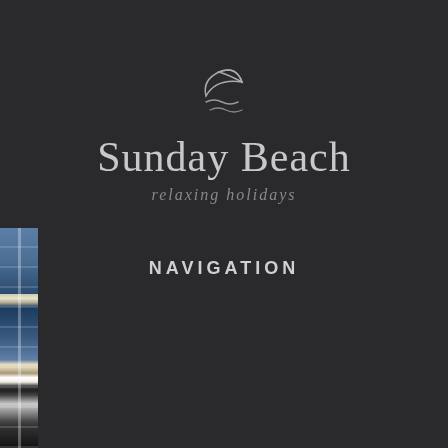[Figure (logo): Sunday Beach logo — a crescent moon with wave lines above the text 'Sunday Beach' and italic tagline 'relaxing holidays']
Sunday Beach
relaxing holidays
NAVIGATION
[Figure (photo): Partial photo strip on the left edge showing a building exterior with balconies, blue and white tones with a flag or banner visible]